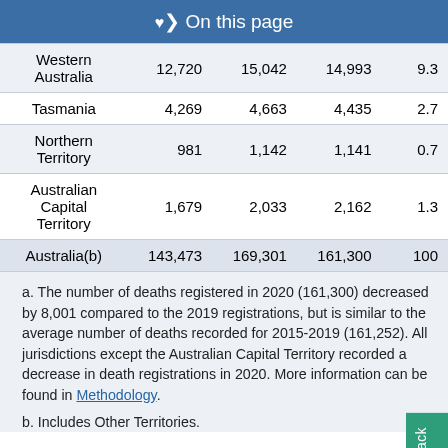On this page
|  |  |  |  |  |
| --- | --- | --- | --- | --- |
| Western Australia | 12,720 | 15,042 | 14,993 | 9.3 |
| Tasmania | 4,269 | 4,663 | 4,435 | 2.7 |
| Northern Territory | 981 | 1,142 | 1,141 | 0.7 |
| Australian Capital Territory | 1,679 | 2,033 | 2,162 | 1.3 |
| Australia(b) | 143,473 | 169,301 | 161,300 | 100 |
a. The number of deaths registered in 2020 (161,300) decreased by 8,001 compared to the 2019 registrations, but is similar to the average number of deaths recorded for 2015-2019 (161,252). All jurisdictions except the Australian Capital Territory recorded a decrease in death registrations in 2020. More information can be found in Methodology.
b. Includes Other Territories.